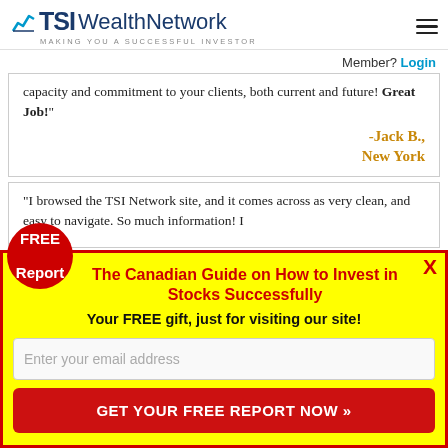[Figure (logo): TSI Wealth Network logo with chart icon and tagline 'MAKING YOU A SUCCESSFUL INVESTOR']
Member?  Login
capacity and commitment to your clients, both current and future! Great Job!"
-Jack B., New York
"I browsed the TSI Network site, and it comes across as very clean, and easy to navigate. So much information! I
The Canadian Guide on How to Invest in Stocks Successfully
Your FREE gift, just for visiting our site!
Enter your email address
GET YOUR FREE REPORT NOW »